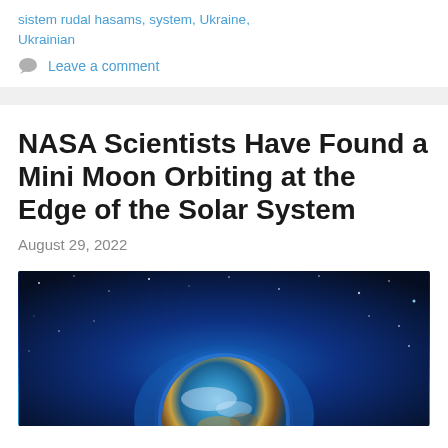sistem rudal hasams, system, Ukraine, Ukrainian
Leave a comment
NASA Scientists Have Found a Mini Moon Orbiting at the Edge of the Solar System
August 29, 2022
[Figure (photo): Photo of Earth seen from space against a dark starry background with blue glow/aura around the planet]